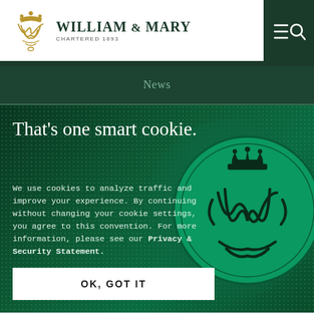[Figure (logo): William & Mary university logo with golden monogram and text 'WILLIAM & MARY CHARTERED 1693']
[Figure (infographic): Navigation bar icons: hamburger menu and search (magnifying glass) on dark green background]
News
That's one smart cookie.
We use cookies to analyze traffic and improve your experience. By continuing without changing your cookie settings, you agree to this convention. For more information, please see our Privacy & Security Statement.
OK, GOT IT